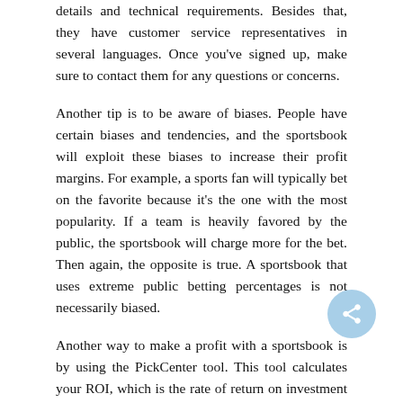details and technical requirements. Besides that, they have customer service representatives in several languages. Once you've signed up, make sure to contact them for any questions or concerns.
Another tip is to be aware of biases. People have certain biases and tendencies, and the sportsbook will exploit these biases to increase their profit margins. For example, a sports fan will typically bet on the favorite because it's the one with the most popularity. If a team is heavily favored by the public, the sportsbook will charge more for the bet. Then again, the opposite is true. A sportsbook that uses extreme public betting percentages is not necessarily biased.
Another way to make a profit with a sportsbook is by using the PickCenter tool. This tool calculates your ROI, which is the rate of return on investment (ROI) of your spread picks. With the PickCenter system, you can find a sportsbook's ROI by using a calculator. When analyzing a spread pick, try to choose one with a good ROI. If the number is negative, the bet must be lower than the number if the team loses.
If you are looking for a new sportsbook, check out BetMGM. BetMGM allows you to place a booster bet. For example, a 76ers moneyline spread game versus the Magic is being boosted to +150. The risk-